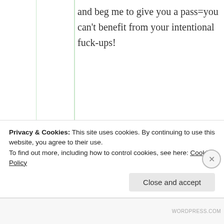and beg me to give you a pass=you can't benefit from your intentional fuck-ups!
★ Like
Suma Reddy
9th Jul 2021 at 3:42
am
Privacy & Cookies: This site uses cookies. By continuing to use this website, you agree to their use.
To find out more, including how to control cookies, see here: Cookie Policy
Close and accept